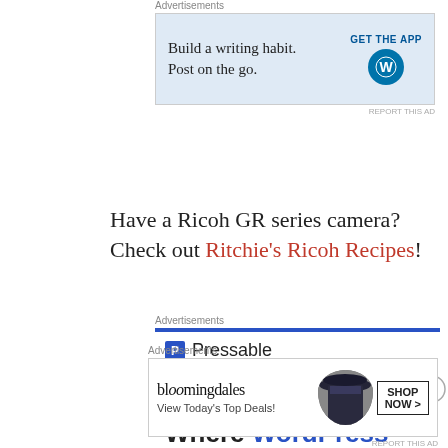[Figure (screenshot): Top advertisement banner: 'Build a writing habit. Post on the go.' with GET THE APP button and WordPress logo, light blue background]
Have a Ricoh GR series camera? Check out Ritchie's Ricoh Recipes!
[Figure (screenshot): Middle advertisement: Pressable - The Platform Where WordPress, with blue top border bar and dots decoration]
[Figure (screenshot): Bottom advertisement banner: Bloomingdale's - View Today's Top Deals! with woman in hat image and SHOP NOW button]